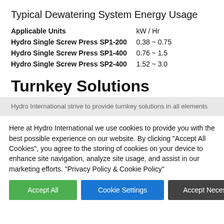Typical Dewatering System Energy Usage
| Applicable Units | kW / Hr |
| --- | --- |
| Hydro Single Screw Press SP1-200 | 0.38 ~ 0.75 |
| Hydro Single Screw Press SP1-400 | 0.76 ~ 1.5 |
| Hydro Single Screw Press SP2-400 | 1.52 ~ 3.0 |
Turnkey Solutions
Hydro International strive to provide turnkey solutions in all elements
Here at Hydro International we use cookies to provide you with the best possible experience on our website. By clicking "Accept All Cookies", you agree to the storing of cookies on your device to enhance site navigation, analyze site usage, and assist in our marketing efforts. "Privacy Policy & Cookie Policy"